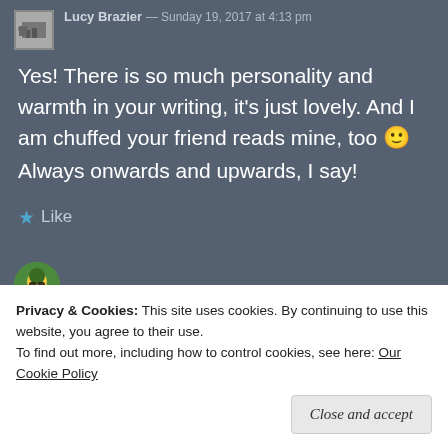Lucy Brazier — Sunday 19, 2017 at 4:13 pm
Yes! There is so much personality and warmth in your writing, it's just lovely. And I am chuffed your friend reads mine, too 🙂 Always onwards and upwards, I say!
★ Like
Privacy & Cookies: This site uses cookies. By continuing to use this website, you agree to their use. To find out more, including how to control cookies, see here: Our Cookie Policy
Close and accept